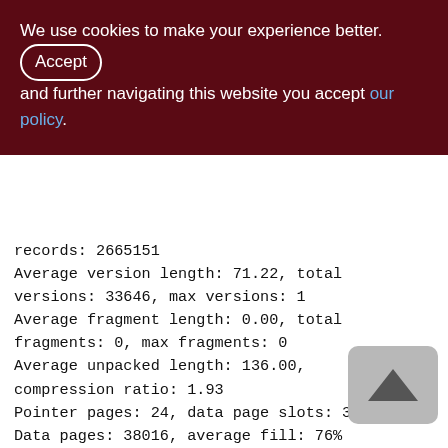We use cookies to make your experience better. By Accepting and further navigating this website you accept our policy.
records: 2665151
Average version length: 71.22, total versions: 33646, max versions: 1
Average fragment length: 0.00, total fragments: 0, max fragments: 0
Average unpacked length: 136.00, compression ratio: 1.93
Pointer pages: 24, data page slots: 38016
Data pages: 38016, average fill: 76%
Primary pages: 38016, secondary pages: 0, swept pages: 24182
Empty pages: 8, full pages: 35150
Fill distribution: